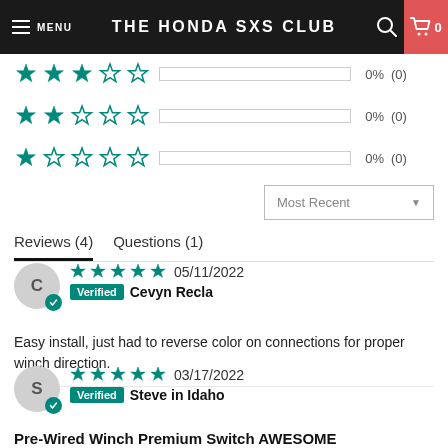MENU | THE HONDA SXS CLUB | 🔍 | 🛒 0
[Figure (infographic): 3-star rating row: 3 teal filled stars, 2 empty stars, progress bar, 0%, (0)]
[Figure (infographic): 2-star rating row: 2 teal filled stars, 3 empty stars, progress bar, 0%, (0)]
[Figure (infographic): 1-star rating row: 1 teal filled star, 4 empty stars, progress bar, 0%, (0)]
Most Recent ▼
Reviews (4)   Questions (1)
★★★★★ 05/11/2022  Verified  Cevyn Recla
Easy install, just had to reverse color on connections for proper winch direction.
★★★★★ 03/17/2022  Verified  Steve in Idaho
Pre-Wired Winch Premium Switch AWESOME